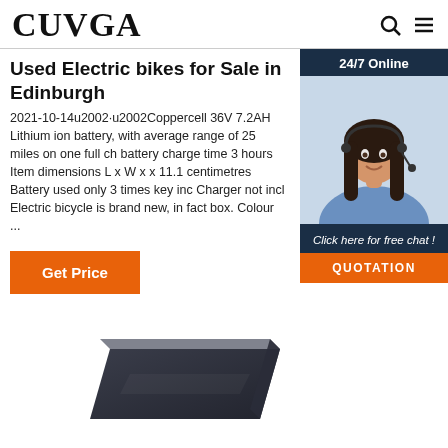CUVGA
Used Electric bikes for Sale in Edinburgh
2021-10-14u2002·u2002Coppercell 36V 7.2AH Lithium ion battery, with average range of 25 miles on one full ch battery charge time 3 hours Item dimensions L x W x x 11.1 centimetres Battery used only 3 times key inc Charger not incl Electric bicycle is brand new, in fact box. Colour ...
Get Price
[Figure (photo): Customer service agent - woman with headset smiling, with '24/7 Online' label, 'Click here for free chat!' text and 'QUOTATION' button on dark navy background]
[Figure (photo): Dark colored rectangular electric bike battery product photo, partially visible at bottom of page]